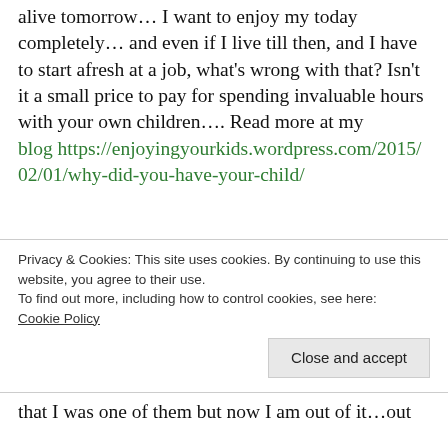alive tomorrow… I want to enjoy my today completely… and even if I live till then, and I have to start afresh at a job, what's wrong with that? Isn't it a small price to pay for spending invaluable hours with your own children…. Read more at my blog https://enjoyingyourkids.wordpress.com/2015/02/01/why-did-you-have-your-child/
4. Low Self Confidence …. Yes, when you see the super confident working mothers wearing crisp formals and high heels you do feel inadequate… however, when you start talking to them and you hear about their troubles you do feel lucky again…
Privacy & Cookies: This site uses cookies. By continuing to use this website, you agree to their use.
To find out more, including how to control cookies, see here: Cookie Policy
that I was one of them but now I am out of it…out